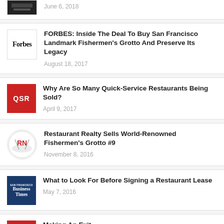[Figure (other): Partial article thumbnail at top]
June 6, 2018
[Figure (logo): Forbes logo]
FORBES: Inside The Deal To Buy San Francisco Landmark Fishermen's Grotto And Preserve Its Legacy
August 18, 2017
[Figure (logo): QSR logo - red square]
Why Are So Many Quick-Service Restaurants Being Sold?
April 9, 2017
[Figure (logo): Restaurant News RN logo]
Restaurant Realty Sells World-Renowned Fishermen's Grotto #9
November 8, 2016
[Figure (logo): San Francisco Business Times logo]
What to Look For Before Signing a Restaurant Lease
May 7, 2016
Making An Exit